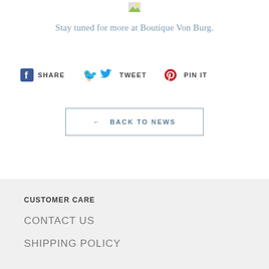[Figure (photo): Small image placeholder/broken image icon at the top center of the page]
Stay tuned for more at Boutique Von Burg.
SHARE  TWEET  PIN IT
← BACK TO NEWS
CUSTOMER CARE
CONTACT US
SHIPPING POLICY